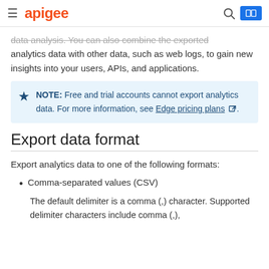apigee
data analysis. You can also combine the exported analytics data with other data, such as web logs, to gain new insights into your users, APIs, and applications.
NOTE: Free and trial accounts cannot export analytics data. For more information, see Edge pricing plans.
Export data format
Export analytics data to one of the following formats:
Comma-separated values (CSV)
The default delimiter is a comma (,) character. Supported delimiter characters include comma (,),